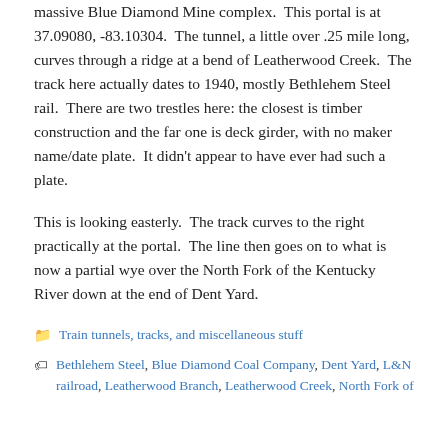massive Blue Diamond Mine complex.  This portal is at 37.09080, -83.10304.  The tunnel, a little over .25 mile long, curves through a ridge at a bend of Leatherwood Creek.  The track here actually dates to 1940, mostly Bethlehem Steel rail.  There are two trestles here: the closest is timber construction and the far one is deck girder, with no maker name/date plate.  It didn't appear to have ever had such a plate.
This is looking easterly.  The track curves to the right practically at the portal.  The line then goes on to what is now a partial wye over the North Fork of the Kentucky River down at the end of Dent Yard.
Train tunnels, tracks, and miscellaneous stuff
Bethlehem Steel, Blue Diamond Coal Company, Dent Yard, L&N railroad, Leatherwood Branch, Leatherwood Creek, North Fork of